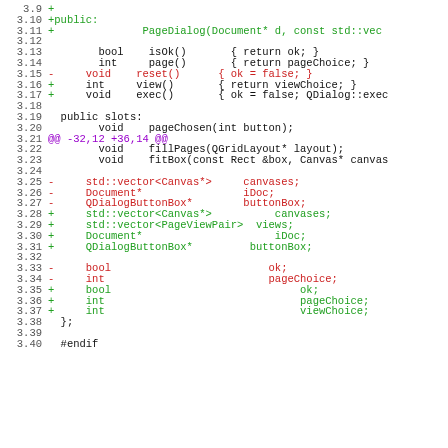[Figure (screenshot): Code diff view showing changes to PageDialog class in C++/Qt header file, lines 3.9 through 3.40. Lines with '+' prefix are additions (green), lines with '-' prefix are removals (red), purple shows diff hunk markers.]